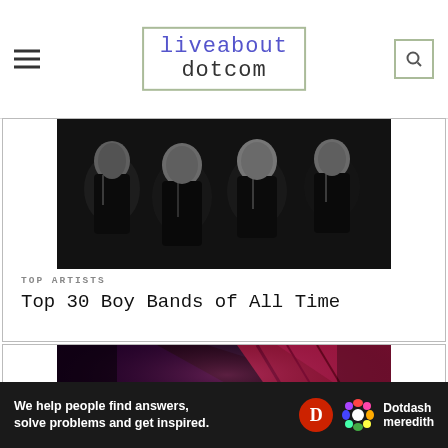liveabout dotcom
[Figure (photo): Black and white photo of four young men in dark suits, resembling The Beatles in early 1960s style, looking at camera]
TOP ARTISTS
Top 30 Boy Bands of All Time
[Figure (photo): Concert photo of a woman with blonde hair at a piano/keyboard with dramatic pink and dark lighting]
We help people find answers, solve problems and get inspired.
Dotdash meredith